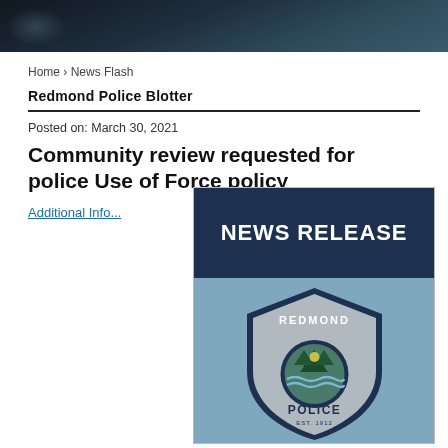Home › News Flash
Redmond Police Blotter
Posted on: March 30, 2021
Community review requested for police Use of Force policy
Additional Info...
[Figure (illustration): News Release graphic with Redmond Police badge logo. Dark navy top section with 'NEWS RELEASE' in bold white text, light blue bottom section with Redmond Police shield badge showing trees and water, EST. 1912.]